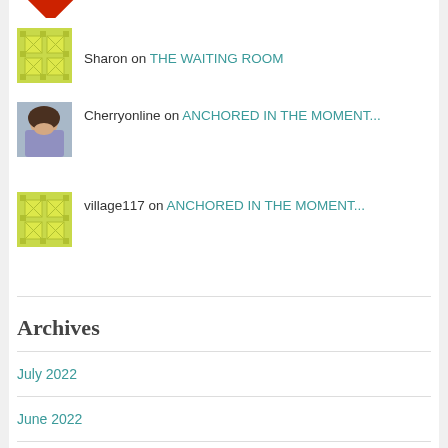[Figure (illustration): Partial red quilt/star icon at top, cropped]
Sharon on THE WAITING ROOM
Cherryonline on ANCHORED IN THE MOMENT...
village117 on ANCHORED IN THE MOMENT...
Archives
July 2022
June 2022